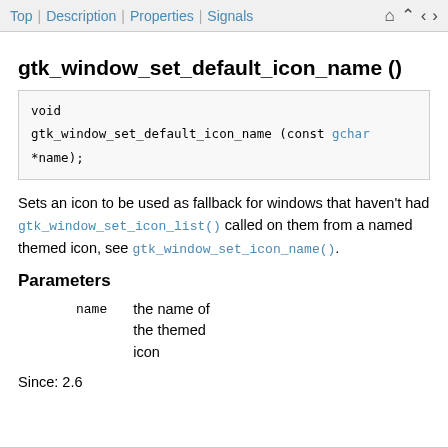Top | Description | Properties | Signals
gtk_window_set_default_icon_name ()
Sets an icon to be used as fallback for windows that haven't had gtk_window_set_icon_list() called on them from a named themed icon, see gtk_window_set_icon_name().
Parameters
|  |  |
| --- | --- |
| name | the name of the themed icon |
Since: 2.6